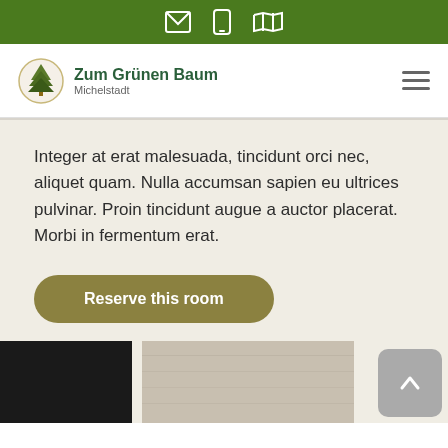Top navigation bar with icons: email, mobile, map
[Figure (logo): Zum Grünen Baum logo with tree icon, text Zum Grünen Baum and subtitle Michelstadt]
Integer at erat malesuada, tincidunt orci nec, aliquet quam. Nulla accumsan sapien eu ultrices pulvinar. Proin tincidunt augue a auctor placerat. Morbi in fermentum erat.
Reserve this room
[Figure (photo): Partial photo strip showing dark panel on left and light wood panel on right, with back-to-top arrow button]